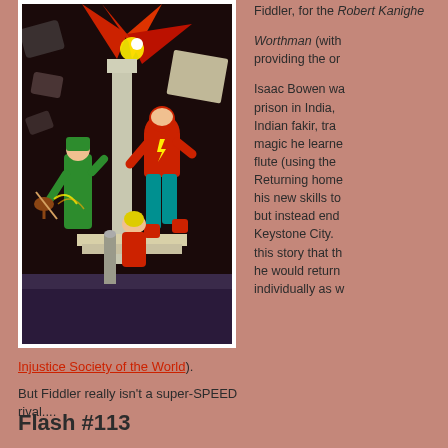[Figure (illustration): Comic book cover or interior page showing the Flash in red costume kicking, the Fiddler in green playing violin, and a woman in red dress, with an explosion and falling debris in the background]
Injustice Society of the World).
But Fiddler really isn't a super-SPEED rival....
Flash #113
Fiddler, for the Robert Kanigher Worthman (with providing the or Isaac Bowen was prison in India, Indian fakir, tra magic he learned flute (using the Returning home his new skills to but instead end Keystone City. this story that th he would return individually as w